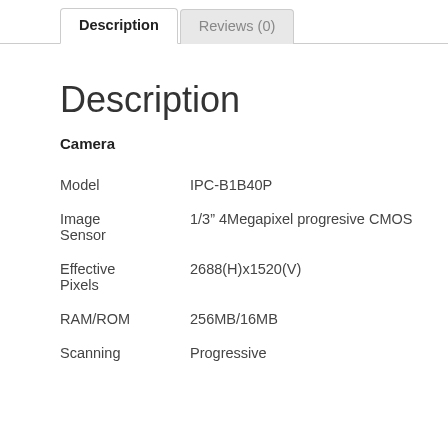Description | Reviews (0)
Description
Camera
| Field | Value |
| --- | --- |
| Model | IPC-B1B40P |
| Image Sensor | 1/3" 4Megapixel progresive CMOS |
| Effective Pixels | 2688(H)x1520(V) |
| RAM/ROM | 256MB/16MB |
| Scanning | Progressive |